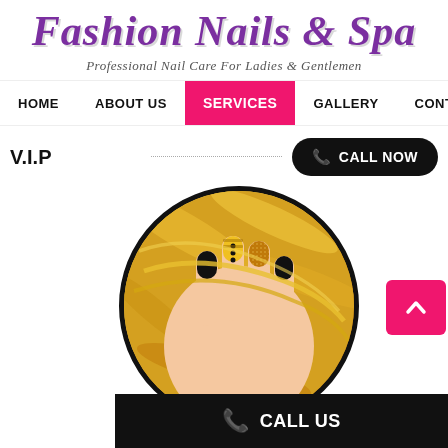Fashion Nails & Spa
Professional Nail Care For Ladies & Gentlemen
HOME | ABOUT US | SERVICES | GALLERY | CONTACT
V.I.P
CALL NOW
[Figure (photo): Circular cropped photo of a hand with decorative nails painted black, yellow, and gold with glitter against golden chain jewelry background]
CALL US